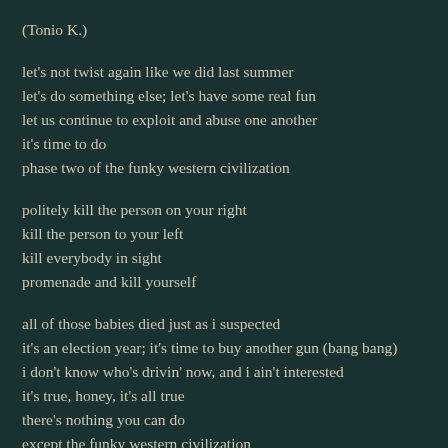(Tonio K.)
let's not twist again like we did last summer
let's do something else; let's have some real fun
let us continue to exploit and abuse one another
it's time to do
phase two of the funky western civilization
politely kill the person on your right
kill the person to your left
kill everybody in sight
promenade and kill yourself
all of those babies died just as i suspected
it's an election year; it's time to buy another gun (bang bang)
i don't know who's drivin' now, and i ain't interested
it's true, honey, it's all true
there's nothing you can do
except the funky western civilization
you gently kill the person on your right
kill the person to your left
kill everybody in sight